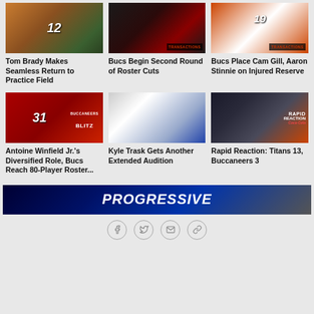[Figure (photo): Tom Brady in orange jersey #12 at practice field]
Tom Brady Makes Seamless Return to Practice Field
[Figure (photo): Tampa Bay Buccaneers helmet with TRANSACTIONS badge]
Bucs Begin Second Round of Roster Cuts
[Figure (photo): Buccaneers player #19 in white jersey with TRANSACTIONS badge]
Bucs Place Cam Gill, Aaron Stinnie on Injured Reserve
[Figure (photo): Antoine Winfield Jr. #31 in red jersey with Buccaneers Blitz overlay]
Antoine Winfield Jr.'s Diversified Role, Bucs Reach 80-Player Roster...
[Figure (photo): Kyle Trask throwing during game against Titans]
Kyle Trask Gets Another Extended Audition
[Figure (photo): Game action photo with Rapid Reaction overlay, Titans vs Buccaneers]
Rapid Reaction: Titans 13, Buccaneers 3
[Figure (photo): Progressive insurance advertisement banner]
[Figure (other): Social sharing icons: Facebook, Twitter, Email, Link]